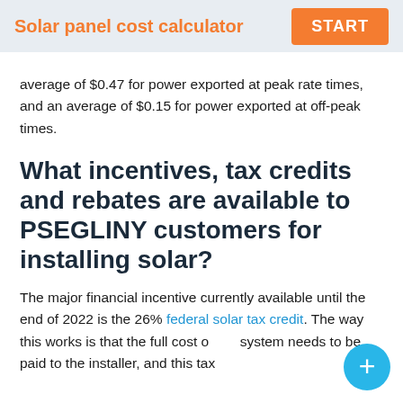Solar panel cost calculator  START
average of $0.47 for power exported at peak rate times, and an average of $0.15 for power exported at off-peak times.
What incentives, tax credits and rebates are available to PSEGLINY customers for installing solar?
The major financial incentive currently available until the end of 2022 is the 26% federal solar tax credit. The way this works is that the full cost of the system needs to be paid to the installer, and this tax